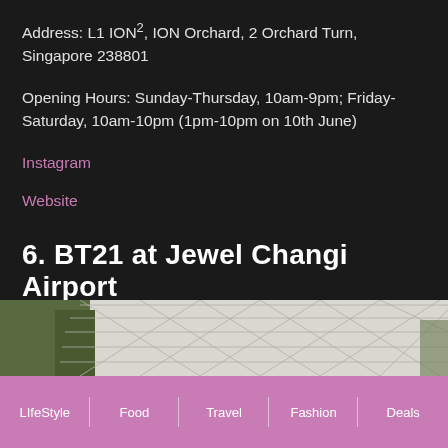Address: L1 ION², ION Orchard, 2 Orchard Turn, Singapore 238801
Opening Hours: Sunday-Thursday, 10am-9pm; Friday-Saturday, 10am-10pm (1pm-10pm on 10th June)
Instagram
Website
6. BT21 at Jewel Changi Airport
[Figure (photo): Photo of Jewel Changi Airport showing the geometric glass dome structure with trees visible]
LIfeStyle | Food | Travel | Fashion | Deals